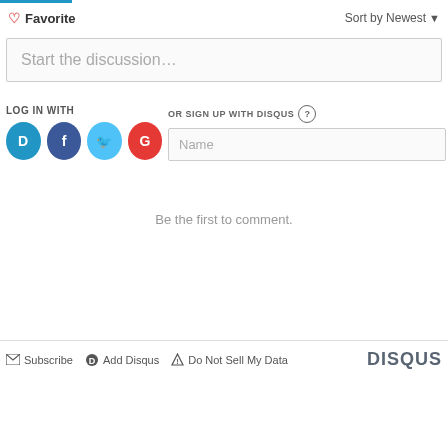[Figure (screenshot): Disqus comment widget interface with toolbar showing Favorite and Sort by Newest, a discussion text area, social login icons (Disqus, Facebook, Twitter, Google), sign up with Disqus name field, empty comment area with 'Be the first to comment.' message, and footer with Subscribe, Add Disqus, Do Not Sell My Data links and DISQUS logo.]